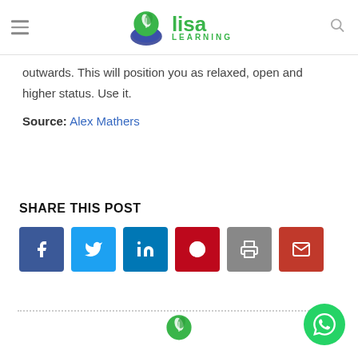Lisa Learning
outwards. This will position you as relaxed, open and higher status. Use it.
Source: Alex Mathers
SHARE THIS POST
[Figure (other): Row of social share buttons: Facebook, Twitter, LinkedIn, Pinterest, Print, Email]
[Figure (logo): Lisa Learning logo at bottom center, partial view]